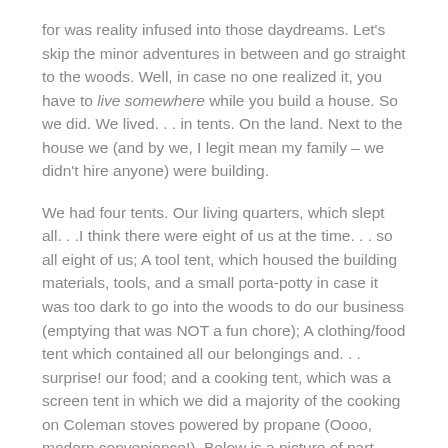for was reality infused into those daydreams. Let's skip the minor adventures in between and go straight to the woods. Well, in case no one realized it, you have to live somewhere while you build a house. So we did. We lived. . . in tents. On the land. Next to the house we (and by we, I legit mean my family – we didn't hire anyone) were building.
We had four tents. Our living quarters, which slept all. . .I think there were eight of us at the time. . . so all eight of us; A tool tent, which housed the building materials, tools, and a small porta-potty in case it was too dark to go into the woods to do our business (emptying that was NOT a fun chore); A clothing/food tent which contained all our belongings and. . . surprise! our food; and a cooking tent, which was a screen tent in which we did a majority of the cooking on Coleman stoves powered by propane (Oooo, modern convenience!). Below is a picture of part